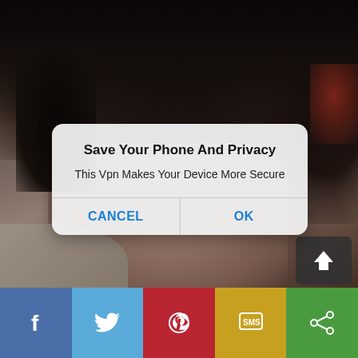[Figure (screenshot): Mobile app screenshot with a person's face/photo as background, showing a VPN permission dialog overlay with Cancel and OK buttons, and a social sharing bar at the bottom with Facebook, Twitter, Pinterest, SMS, and Share buttons.]
Save Your Phone And Privacy
This Vpn Makes Your Device More Secure
CANCEL
OK